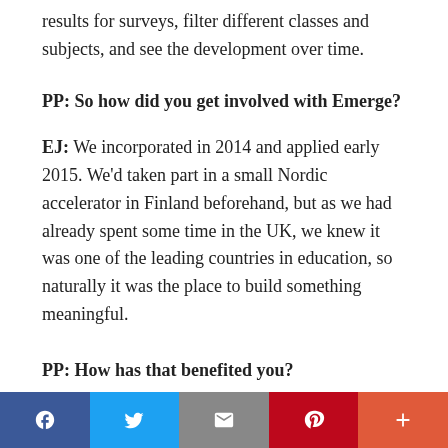results for surveys, filter different classes and subjects, and see the development over time.
PP: So how did you get involved with Emerge?
EJ: We incorporated in 2014 and applied early 2015. We'd taken part in a small Nordic accelerator in Finland beforehand, but as we had already spent some time in the UK, we knew it was one of the leading countries in education, so naturally it was the place to build something meaningful.
PP: How has that benefited you?
EJ: We've been connected with organizations like OUP,
Facebook Twitter Email Pinterest +